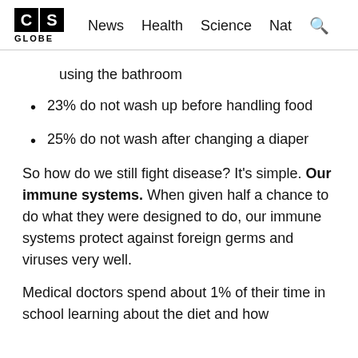CS GLOBE | News  Health  Science  Nat  🔍
using the bathroom
23% do not wash up before handling food
25% do not wash after changing a diaper
So how do we still fight disease? It's simple. Our immune systems. When given half a chance to do what they were designed to do, our immune systems protect against foreign germs and viruses very well.
Medical doctors spend about 1% of their time in school learning about the diet and how